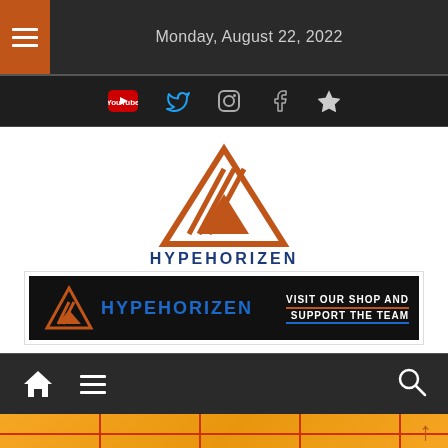Monday, August 22, 2022
[Figure (logo): HypeHorizen logo with orange triangle/mountain graphic and blue HYPEHORIZEN text]
[Figure (logo): HypeHorizen banner ad: black background with logo and text VISIT OUR SHOP AND SUPPORT THE TEAM]
[Figure (infographic): Navigation bar with home icon, hamburger menu icon, and search icon on dark background]
[Figure (illustration): Partial view of colorful image with orange/yellow background and red design elements at bottom of page]